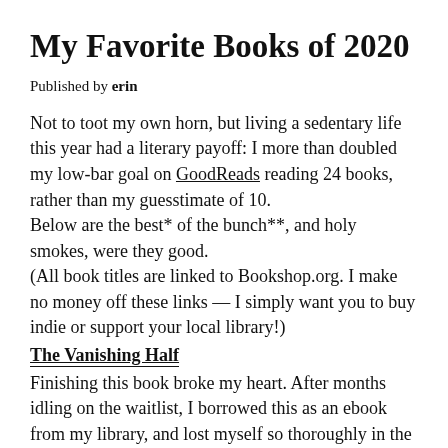My Favorite Books of 2020
Published by erin
Not to toot my own horn, but living a sedentary life this year had a literary payoff: I more than doubled my low-bar goal on GoodReads reading 24 books, rather than my guesstimate of 10.
Below are the best* of the bunch**, and holy smokes, were they good.
(All book titles are linked to Bookshop.org. I make no money off these links — I simply want you to buy indie or support your local library!)
The Vanishing Half
Finishing this book broke my heart. After months idling on the waitlist, I borrowed this as an ebook from my library, and lost myself so thoroughly in the